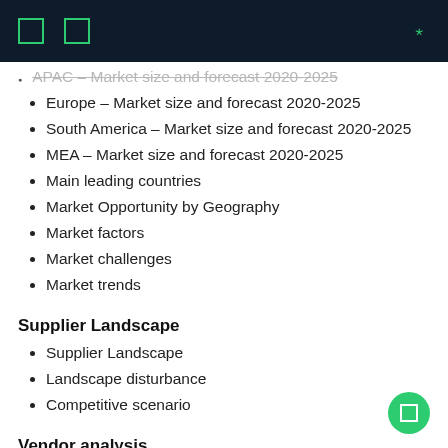APAC – Market size and forecast 2020-2025 (truncated/cut off)
Europe – Market size and forecast 2020-2025
South America – Market size and forecast 2020-2025
MEA – Market size and forecast 2020-2025
Main leading countries
Market Opportunity by Geography
Market factors
Market challenges
Market trends
Supplier Landscape
Supplier Landscape
Landscape disturbance
Competitive scenario
Vendor analysis